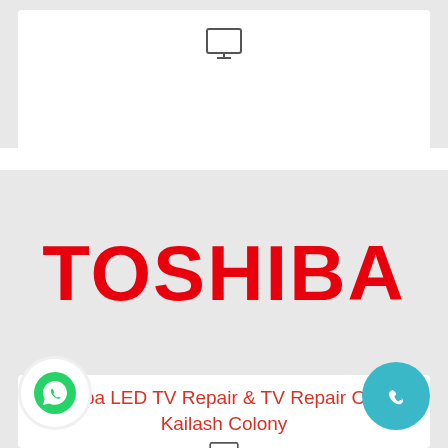[Figure (illustration): Monitor/TV icon at top center of white card]
[Figure (logo): TOSHIBA brand logo in bold red text on grey background]
Toshiba LED TV Repair & TV Repair Center Kailash Colony
[Figure (illustration): Monitor/TV icon below the title text]
[Figure (illustration): Green WhatsApp phone icon button on bottom left]
[Figure (illustration): Teal phone call icon button on bottom right]